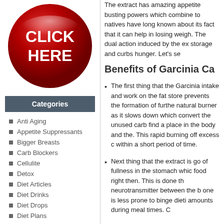[Figure (illustration): Red glossy circular button with white bold text reading CLICK HERE]
Categories
Anti Aging
Appetite Suppressants
Bigger Breasts
Carb Blockers
Cellulite
Detox
Diet Articles
Diet Drinks
Diet Drops
Diet Plans
Fat Binders
Fat Burners
The extract has amazing appetite busting powers which combine to natives have long known about its fact that it can help in losing weigh. The dual action induced by the ex storage and curbs hunger. Let's se
Benefits of Garcinia Ca
The first thing that the Garcinia intake and work on the fat store prevents the formation of furthe natural burner as it slows down which convert the unused carb find a place in the body and the. This rapid burning off excess c within a short period of time.
Next thing that the extract is go of fullness in the stomach whic food right then. This is done th neurotransmitter between the b one is less prone to binge dieti amounts during meal times. C